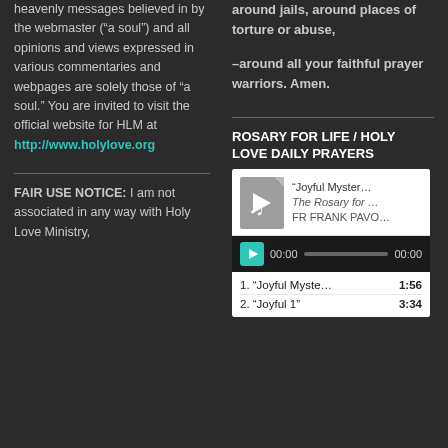heavenly messages believed in by the webmaster (“a soul”) and all opinions and views expressed in various commentaries and webpages are solely those of “a soul.” You are invited to visit the official website for HLM at http://www.holylove.org
FAIR USE NOTICE: I am not associated in any way with Holy Love Ministry,
around jails, around places of torture or abuse,

–around all your faithful prayer warriors. Amen.
ROSARY FOR LIFE / HOLY LOVE DAILY PRAYERS
[Figure (screenshot): Audio player widget showing a music file titled '“Joyful Myster... The Rosary for ...' by FR FRANK PAVO..., with a teal play button, time display 00:00, and track listing: 1. “Joyful Myste...” 1:56, 2. “Joyful 1” 3:34]